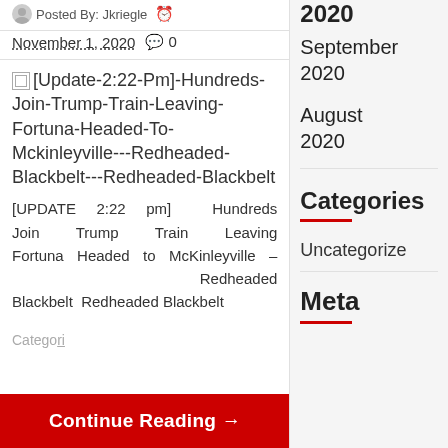Posted By: Jkriegle  November 1, 2020  0
[Figure (illustration): Broken image placeholder next to article title link]
[Update-2:22-Pm]-Hundreds-Join-Trump-Train-Leaving-Fortuna-Headed-To-Mckinleyville---Redheaded-Blackbelt---Redheaded-Blackbelt
[UPDATE 2:22 pm] Hundreds Join Trump Train Leaving Fortuna Headed to McKinleyville – Redheaded Blackbelt Redheaded Blackbelt
Categorized...
Continue Reading →
September 2020
August 2020
Categories
Uncategorized
Meta